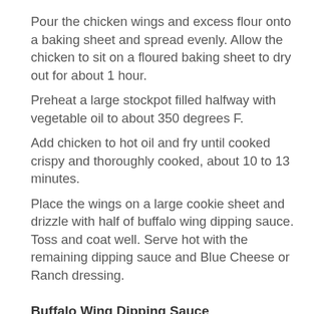Pour the chicken wings and excess flour onto a baking sheet and spread evenly. Allow the chicken to sit on a floured baking sheet to dry out for about 1 hour.
Preheat a large stockpot filled halfway with vegetable oil to about 350 degrees F.
Add chicken to hot oil and fry until cooked crispy and thoroughly cooked, about 10 to 13 minutes.
Place the wings on a large cookie sheet and drizzle with half of buffalo wing dipping sauce. Toss and coat well. Serve hot with the remaining dipping sauce and Blue Cheese or Ranch dressing.
Buffalo Wing Dipping Sauce